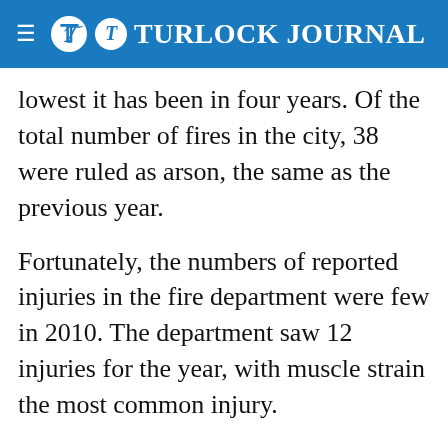Turlock Journal
lowest it has been in four years. Of the total number of fires in the city, 38 were ruled as arson, the same as the previous year.
Fortunately, the numbers of reported injuries in the fire department were few in 2010. The department saw 12 injuries for the year, with muscle strain the most common injury.
The declining budget is having an effect on the fire department's equipment as the